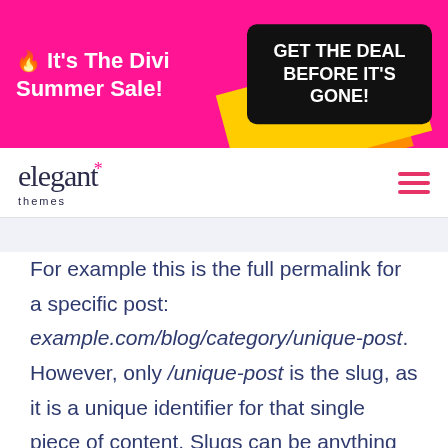[Figure (infographic): Pink promotional banner with 'It's The Divi Summer Sale!' on left and black button 'GET THE DEAL BEFORE IT'S GONE!' on right, with yellow/orange decorative shapes]
[Figure (logo): Elegant Themes logo with serif font and pink asterisk, hamburger menu icon on right]
For example this is the full permalink for a specific post: example.com/blog/category/unique-post. However, only /unique-post is the slug, as it is a unique identifier for that single piece of content. Slugs can be anything you want, and they can be changed at any